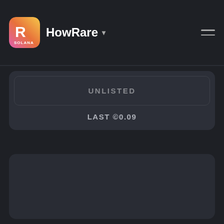HowRare
UNLISTED
LAST ©0.09
[Figure (other): Dark empty panel area below the price card]